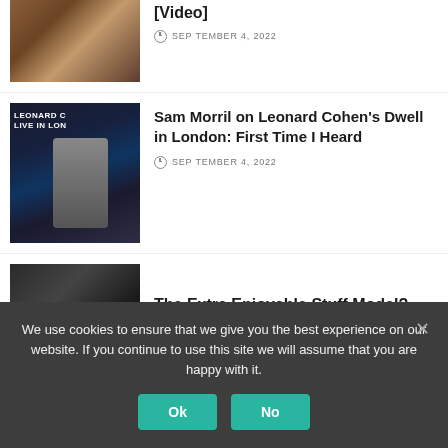[Figure (photo): Partial view of article image showing brown tones, drums/music setting]
[Video]
SEPTEMBER 4, 2022
[Figure (photo): Dark concert photo with text overlay 'LEONARD COHEN LIVE IN LONDON', performer with guitar on stage]
Sam Morril on Leonard Cohen's Dwell in London: First Time I Heard
SEPTEMBER 4, 2022
[Figure (photo): Spider-Man character in red suit against dark background]
The Extra Enjoyable Stuff Model?
SEPTEMBER 4, 2022
We use cookies to ensure that we give you the best experience on our website. If you continue to use this site we will assume that you are happy with it.